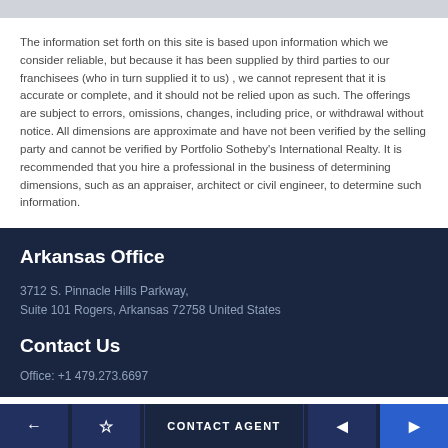The information set forth on this site is based upon information which we consider reliable, but because it has been supplied by third parties to our franchisees (who in turn supplied it to us) , we cannot represent that it is accurate or complete, and it should not be relied upon as such. The offerings are subject to errors, omissions, changes, including price, or withdrawal without notice. All dimensions are approximate and have not been verified by the selling party and cannot be verified by Portfolio Sotheby's International Realty. It is recommended that you hire a professional in the business of determining dimensions, such as an appraiser, architect or civil engineer, to determine such information.
Arkansas Office
3712 S. Pinnacle Hills Parkway,
Suite 101 Rogers, Arkansas 72758 United States
Contact Us
Office: +1 479.273.6697
CONTACT AGENT